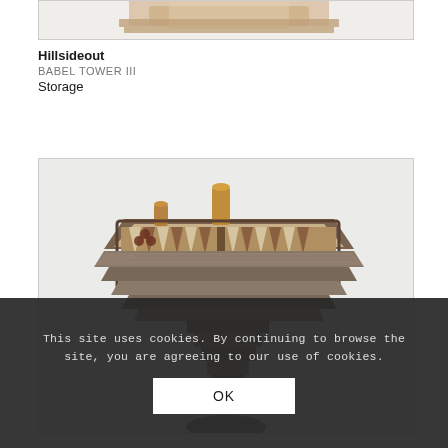[Figure (photo): Partial top view of a decorative product (Babel Tower III storage), cropped at top of frame]
Hillsideout
BABEL TOWER III
Storage
[Figure (photo): Backgammon board set on a stepped wooden pedestal base, crafted from layered wood. The set is called Babel Tower III by Hillsideout. Game pieces and dice cups are visible on the board.]
This site uses cookies. By continuing to browse the site, you are agreeing to our use of cookies.
OK